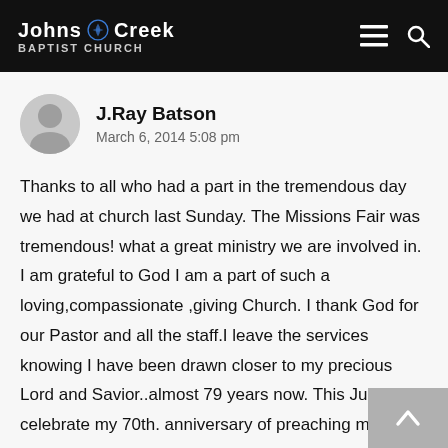Johns Creek Baptist Church
J.Ray Batson
March 6, 2014 5:08 pm
Thanks to all who had a part in the tremendous day we had at church last Sunday. The Missions Fair was tremendous! what a great ministry we are involved in. I am grateful to God I am a part of such a loving,compassionate ,giving Church. I thank God for our Pastor and all the staff.I leave the services knowing I have been drawn closer to my precious Lord and Savior..almost 79 years now. This June I will celebrate my 70th. anniversary of preaching my first sermon. How precious the Lord